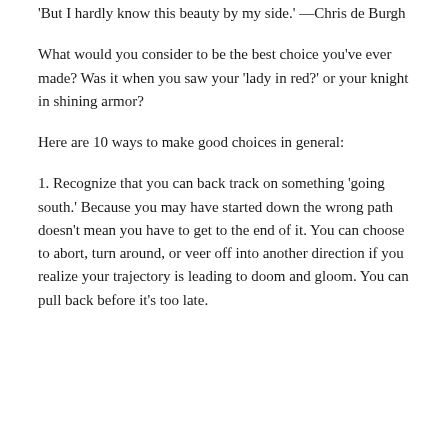'But I hardly know this beauty by my side.' —Chris de Burgh
What would you consider to be the best choice you've ever made? Was it when you saw your 'lady in red?' or your knight in shining armor?
Here are 10 ways to make good choices in general:
1. Recognize that you can back track on something 'going south.' Because you may have started down the wrong path doesn't mean you have to get to the end of it. You can choose to abort, turn around, or veer off into another direction if you realize your trajectory is leading to doom and gloom. You can pull back before it's too late.